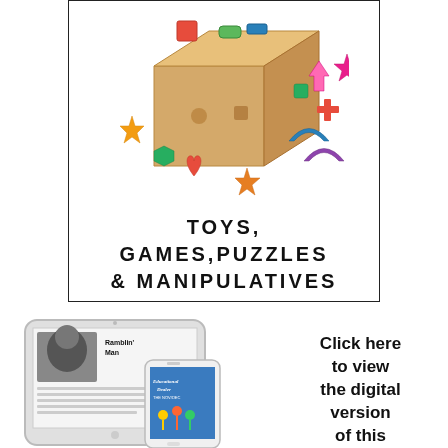[Figure (photo): Wooden shape-sorting cube toy with colorful geometric shape pieces scattered around it including stars, arches, cylinders, hexagons, crosses, hearts, and squares in red, blue, green, yellow, orange, purple, and pink.]
TOYS, GAMES,PUZZLES & MANIPULATIVES
[Figure (photo): A tablet device showing a magazine article with a man's photo and the heading 'Ramblin' Man', overlaid by a smartphone showing the cover of 'Educational Dealer' magazine.]
Click here to view the digital version of this